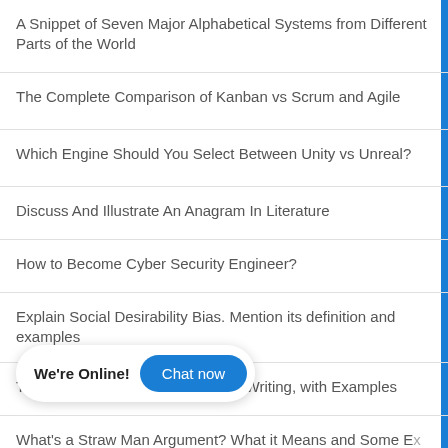A Snippet of Seven Major Alphabetical Systems from Different Parts of the World
The Complete Comparison of Kanban vs Scrum and Agile
Which Engine Should You Select Between Unity vs Unreal?
Discuss And Illustrate An Anagram In Literature
How to Become Cyber Security Engineer?
Explain Social Desirability Bias. Mention its definition and examples
The 9 Different Types of Diction in Writing, with Examples
What's a Straw Man Argument? What it Means and Some Examples
How to Get Certified Scrum Product Owner Certification: The